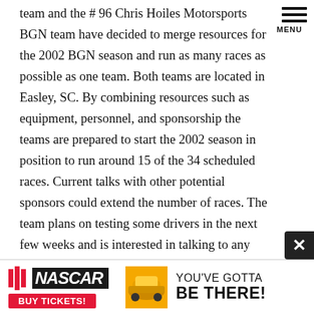MENU
team and the # 96 Chris Hoiles Motorsports BGN team have decided to merge resources for the 2002 BGN season and run as many races as possible as one team. Both teams are located in Easley, SC. By combining resources such as equipment, personnel, and sponsorship the teams are prepared to start the 2002 season in position to run around 15 of the 34 scheduled races. Current talks with other potential sponsors could extend the number of races. The team plans on testing some drivers in the next few weeks and is interested in talking to any drivers with sponsorship looking for a team. If a driver
[Figure (other): NASCAR advertisement banner: NASCAR logo with 'BUY TICKETS!' button on left, and 'YOU'VE GOTTA BE THERE!' text on right]